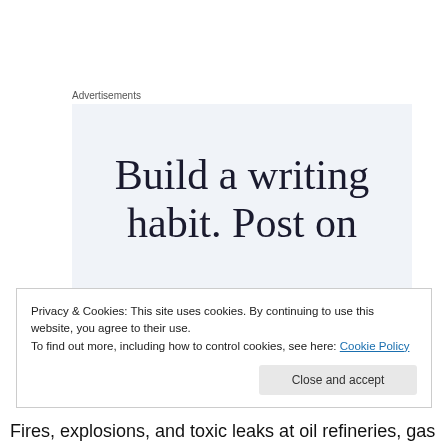Advertisements
[Figure (other): Advertisement banner with text 'Build a writing habit. Post on' on a light blue-grey background]
[Figure (other): Broken image placeholder with small document icon]
Privacy & Cookies: This site uses cookies. By continuing to use this website, you agree to their use.
To find out more, including how to control cookies, see here: Cookie Policy
Close and accept
Fires, explosions, and toxic leaks at oil refineries, gas